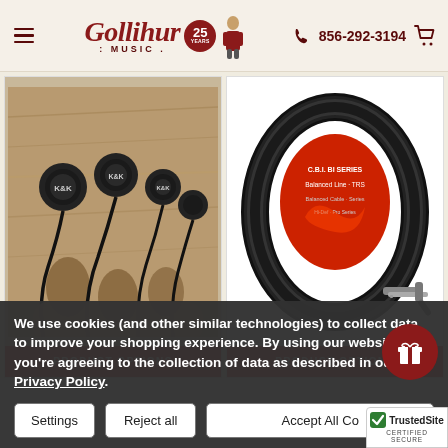Gollihur Music | 856-292-3194
[Figure (photo): K&K pickup sensors attached to a wooden bass bridge — three round black piezo pickups with K&K logos, wired with black cables]
[Figure (photo): C.B.I. BI Series Balanced Line cable in black coiled packaging with a right-angle 1/4 inch connector visible]
PRODUCT OPTIONS
PRODUCT OPTIONS
We use cookies (and other similar technologies) to collect data to improve your shopping experience. By using our website, you're agreeing to the collection of data as described in our Privacy Policy.
Settings
Reject all
Accept All Co